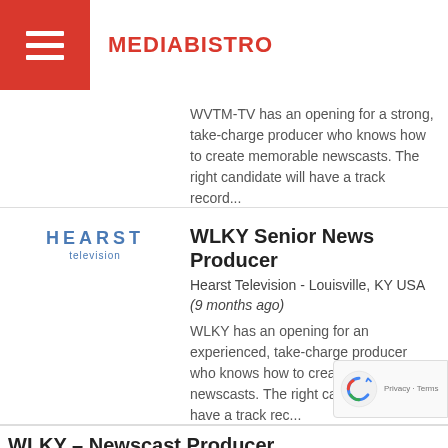MEDIABISTRO
WVTM-TV has an opening for a strong, take-charge producer who knows how to create memorable newscasts. The right candidate will have a track record...
[Figure (logo): Hearst Television logo — blue text HEARST in spaced caps with 'television' below]
WLKY Senior News Producer
Hearst Television - Louisville, KY USA (9 months ago)
WLKY has an opening for an experienced, take-charge producer who knows how to create memorable newscasts. The right candidate will have a track rec...
WLKY - Newscast Producer